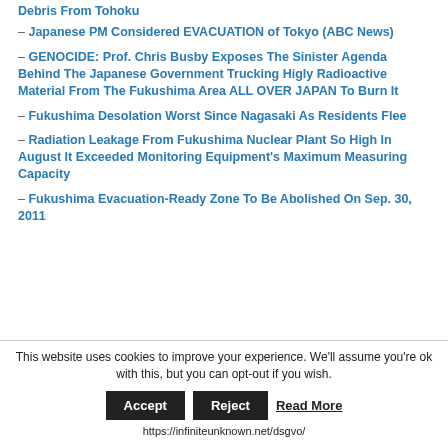– Japanese PM Considered EVACUATION of Tokyo (ABC News)
– GENOCIDE: Prof. Chris Busby Exposes The Sinister Agenda Behind The Japanese Government Trucking Higly Radioactive Material From The Fukushima Area ALL OVER JAPAN To Burn It
– Fukushima Desolation Worst Since Nagasaki As Residents Flee
– Radiation Leakage From Fukushima Nuclear Plant So High In August It Exceeded Monitoring Equipment's Maximum Measuring Capacity
– Fukushima Evacuation-Ready Zone To Be Abolished On Sep. 30, 2011
This website uses cookies to improve your experience. We'll assume you're ok with this, but you can opt-out if you wish.
Accept   Reject   Read More
https://infiniteunknown.net/dsgvo/